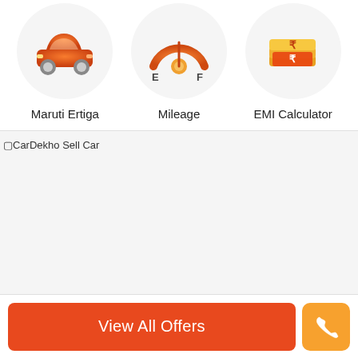[Figure (screenshot): Three icon circles in a row: Maruti Ertiga car icon, Mileage fuel gauge icon, EMI Calculator money bag icon]
Maruti Ertiga
Mileage
EMI Calculator
[Figure (screenshot): CarDekho Sell Car banner image placeholder]
View All Offers
[Figure (other): Phone call button icon]